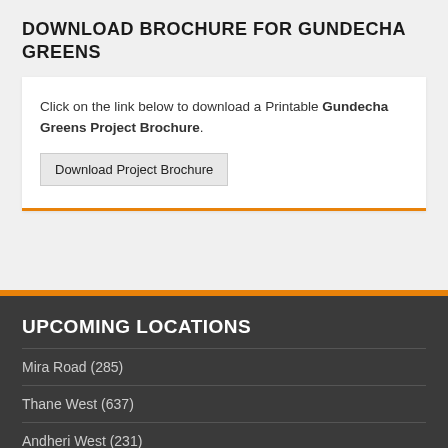DOWNLOAD BROCHURE FOR GUNDECHA GREENS
Click on the link below to download a Printable Gundecha Greens Project Brochure. Download Project Brochure
UPCOMING LOCATIONS
Mira Road (285)
Thane West (637)
Andheri West (231)
Kandivali West (154)